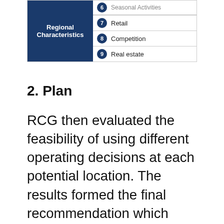[Figure (infographic): Table-like infographic with dark navy left cell labeled 'Regional Characteristics' and right column listing numbered items: 6 Seasonal Activities (partially visible), 7 Retail, 8 Competition, 9 Real estate]
2. Plan
RCG then evaluated the feasibility of using different operating decisions at each potential location. The results formed the final recommendation which outlined the criteria for each potential location.